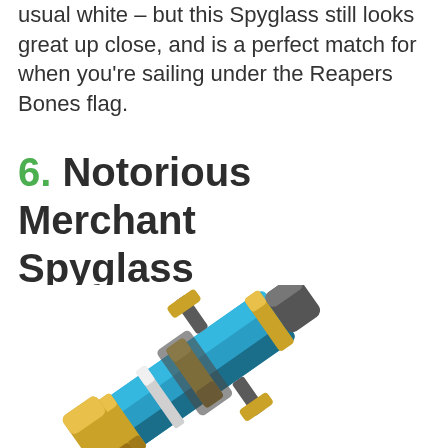usual white – but this Spyglass still looks great up close, and is a perfect match for when you're sailing under the Reapers Bones flag.
6. Notorious Merchant Spyglass
[Figure (illustration): 3D rendered illustration of the Notorious Merchant Spyglass item — a stylized spyglass with a dark blue/teal body, gold and silver metallic bands and fittings, diagonal orientation pointing upper-right to lower-left.]